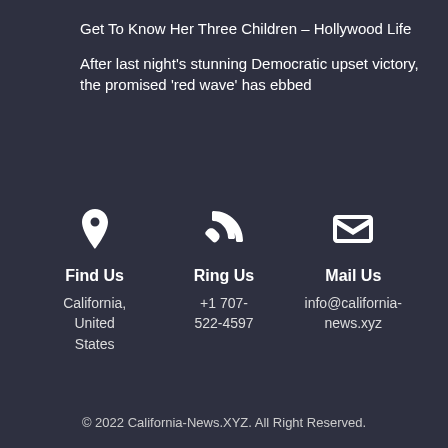Get To Know Her Three Children – Hollywood Life
After last night's stunning Democratic upset victory, the promised 'red wave' has ebbed
[Figure (infographic): Three contact icons (location pin, phone, envelope) with labels Find Us, Ring Us, Mail Us and corresponding contact details]
Find Us
California, United States
Ring Us
+1 707-522-4597
Mail Us
info@california-news.xyz
© 2022 California-News.XYZ. All Right Reserved.